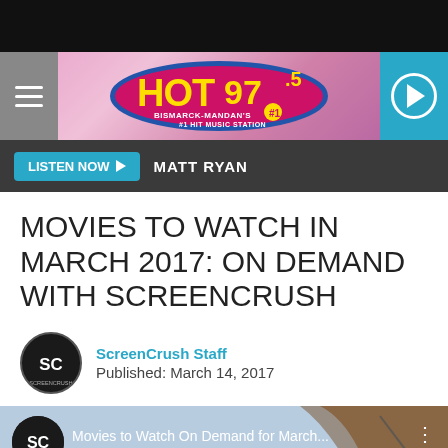[Figure (logo): HOT 97.5 Bismarck-Mandan's #1 Hit Music Station radio station logo with hamburger menu and play button]
LISTEN NOW  MATT RYAN
MOVIES TO WATCH IN MARCH 2017: ON DEMAND WITH SCREENCRUSH
ScreenCrush Staff
Published: March 14, 2017
[Figure (screenshot): Video thumbnail showing ScreenCrush logo and title 'Movies to Watch On Demand for March...' with Moana logo visible at bottom]